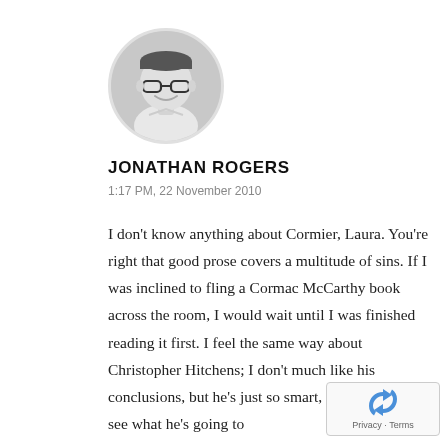[Figure (photo): Circular profile photo of a man with glasses, smiling, black and white photo]
JONATHAN ROGERS
1:17 PM, 22 November 2010
I don’t know anything about Cormier, Laura. You’re right that good prose covers a multitude of sins. If I was inclined to fling a Cormac McCarthy book across the room, I would wait until I was finished reading it first. I feel the same way about Christopher Hitchens; I don’t much like his conclusions, but he’s just so smart, I always want to see what he’s going to